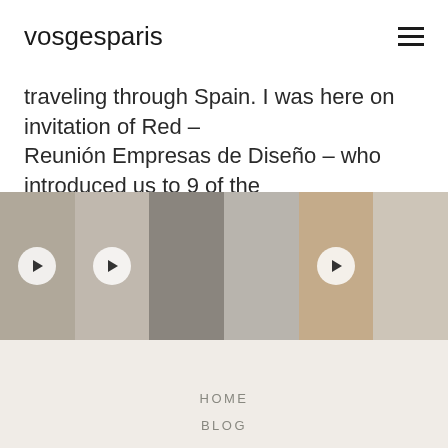vosgesparis
traveling through Spain. I was here on invitation of Red – Reunión Empresas de Diseño – who introduced us to 9 of the over 40 brands they work with. We [...]
[Figure (photo): A horizontal strip of 6 interior design / bedroom photos, alternating with play button overlays on 3 of them.]
HOME
BLOG
ABOUT
CONTACT
NEWSLETTER
WORK WITH ME